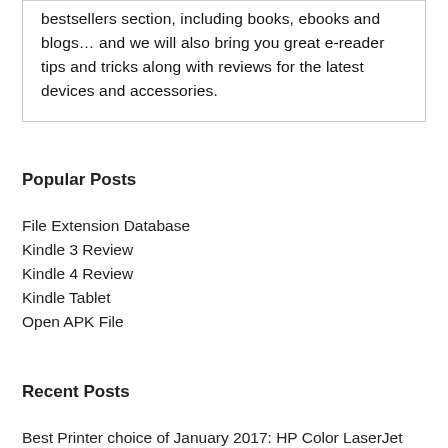bestsellers section, including books, ebooks and blogs… and we will also bring you great e-reader tips and tricks along with reviews for the latest devices and accessories.
Popular Posts
File Extension Database
Kindle 3 Review
Kindle 4 Review
Kindle Tablet
Open APK File
Recent Posts
Best Printer choice of January 2017: HP Color LaserJet Pro M252dw
Best Wi-Fi Routers for January 2017
Best TVs under $999 in January 2017